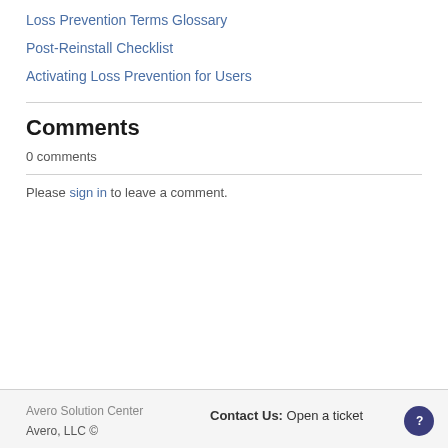Loss Prevention Terms Glossary
Post-Reinstall Checklist
Activating Loss Prevention for Users
Comments
0 comments
Please sign in to leave a comment.
Avero Solution Center
Avero, LLC ©
Contact Us: Open a ticket